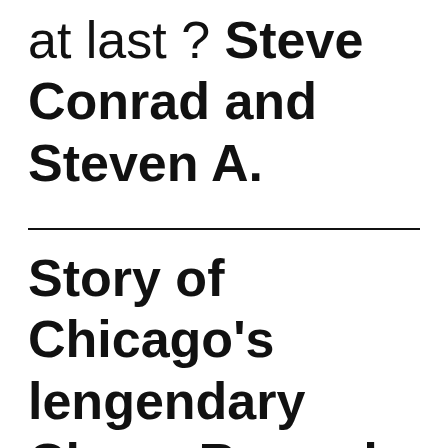at last ? Steve Conrad and Steven A.
Story of Chicago's lengendary Chess Records to film here, starring Matt